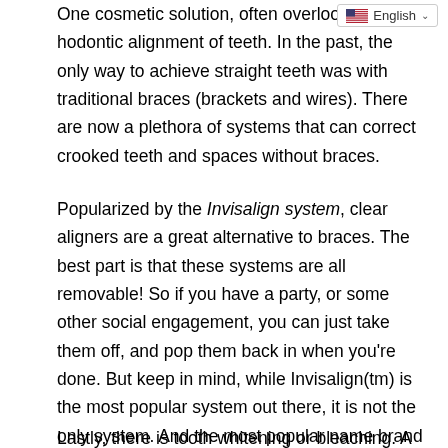One cosmetic solution, often overlooked, is orthodontic alignment of teeth. In the past, the only way to achieve straight teeth was with traditional braces (brackets and wires). There are now a plethora of systems that can correct crooked teeth and spaces without braces.
Popularized by the Invisalign system, clear aligners are a great alternative to braces. The best part is that these systems are all removable! So if you have a party, or some other social engagement, you can just take them off, and pop them back in when you're done. But keep in mind, while Invisalign(tm) is the most popular system out there, it is not the only system. And the most popular name brand may not be the best for you! Look around ask for alternatives and you just might save some time and money.
Lastly, there is tooth whitening or bleaching. A common